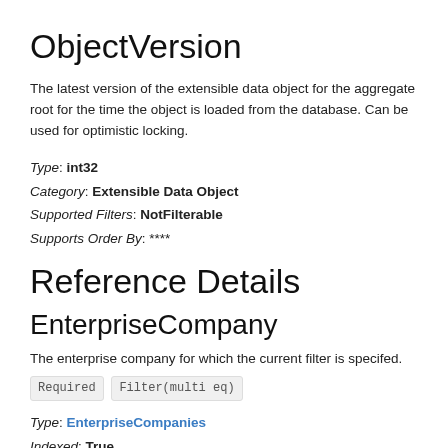ObjectVersion
The latest version of the extensible data object for the aggregate root for the time the object is loaded from the database. Can be used for optimistic locking.
Type: int32
Category: Extensible Data Object
Supported Filters: NotFilterable
Supports Order By: ****
Reference Details
EnterpriseCompany
The enterprise company for which the current filter is specifed.
Required Filter(multi eq)
Type: EnterpriseCompanies
Indexed: True
Category: System